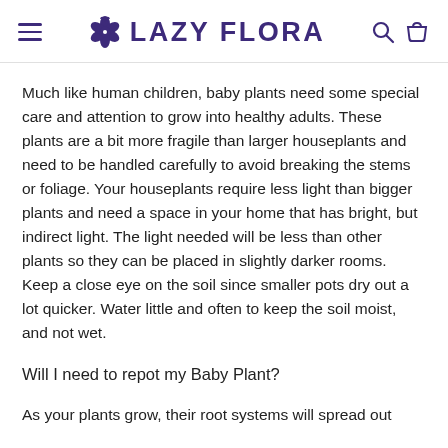LAZY FLORA
Much like human children, baby plants need some special care and attention to grow into healthy adults. These plants are a bit more fragile than larger houseplants and need to be handled carefully to avoid breaking the stems or foliage. Your houseplants require less light than bigger plants and need a space in your home that has bright, but indirect light. The light needed will be less than other plants so they can be placed in slightly darker rooms. Keep a close eye on the soil since smaller pots dry out a lot quicker. Water little and often to keep the soil moist, and not wet.
Will I need to repot my Baby Plant?
As your plants grow, their root systems will spread out